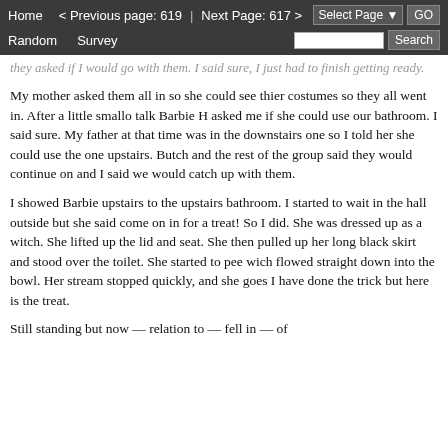Home   < Previous page: 619  |  Next Page: 617 >
Random   Survey   [Select Page dropdown] GO
[Search box] Search
they asked if I would go with them. I said sure, I just had to finish getting ready.
My mother asked them all in so she could see thier costumes so they all went in. After a little smallo talk Barbie H asked me if she could use our bathroom. I said sure. My father at that time was in the downstairs one so I told her she could use the one upstairs. Butch and the rest of the group said they would continue on and I said we would catch up with them.
I showed Barbie upstairs to the upstairs bathroom. I started to wait in the hall outside but she said come on in for a treat! So I did. She was dressed up as a witch. She lifted up the lid and seat. She then pulled up her long black skirt and stood over the toilet. She started to pee wich flowed straight down into the bowl. Her stream stopped quickly, and she goes I have done the trick but here is the treat.
Still standing but now — relation to — fell in — of